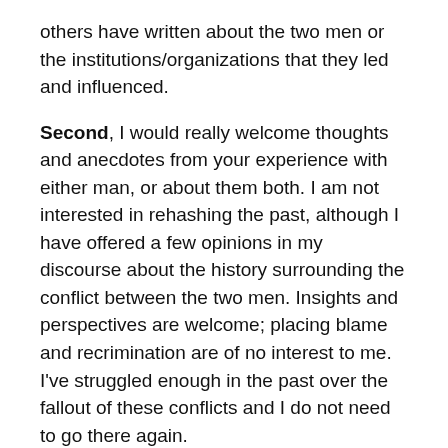others have written about the two men or the institutions/organizations that they led and influenced.
Second, I would really welcome thoughts and anecdotes from your experience with either man, or about them both. I am not interested in rehashing the past, although I have offered a few opinions in my discourse about the history surrounding the conflict between the two men. Insights and perspectives are welcome; placing blame and recrimination are of no interest to me. I’ve struggled enough in the past over the fallout of these conflicts and I do not need to go there again.